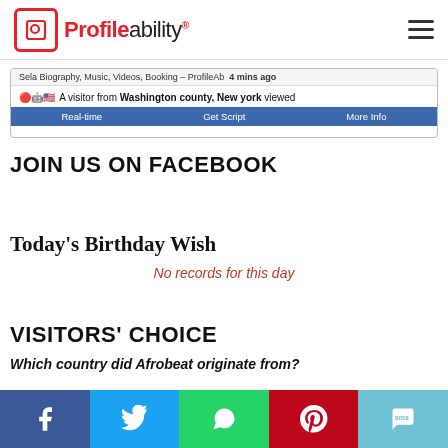Profileability
[Figure (screenshot): Visitor tracking widget showing a visitor from Washington county, New York viewed a page 4 mins ago, with Real-time, Get Script, More Info links on blue bar]
JOIN US ON FACEBOOK
Today's Birthday Wish
No records for this day
VISITORS' CHOICE
Which country did Afrobeat originate from?
[Figure (photo): Dark background concert/music photo partially visible]
[Figure (other): Social media share bar with Facebook, Twitter, WhatsApp, Pinterest, SMS buttons]